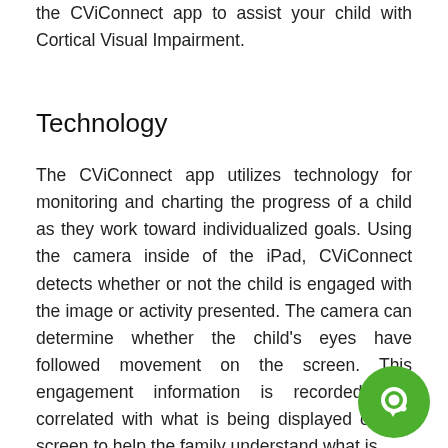the CViConnect app to assist your child with Cortical Visual Impairment.
Technology
The CViConnect app utilizes technology for monitoring and charting the progress of a child as they work toward individualized goals. Using the camera inside of the iPad, CViConnect detects whether or not the child is engaged with the image or activity presented. The camera can determine whether the child’s eyes have followed movement on the screen. This engagement information is recorded and correlated with what is being displayed on the screen to help the family understand what is